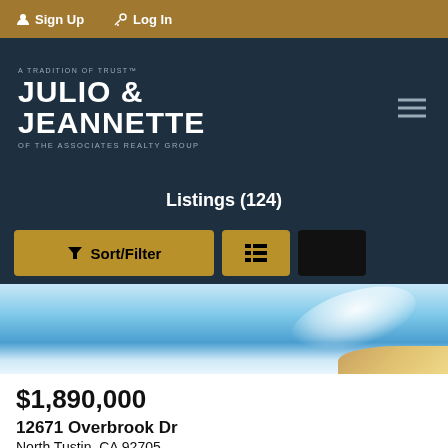Sign Up  Log In
[Figure (logo): Julio & Jeannette of The Associates Realty Group logo on dark background with hamburger menu icon]
Listings (124)
Sort/Filter | list view toggle buttons
[Figure (photo): Pool or water feature with sunlight reflection and stone edge]
$1,890,000
12671 Overbrook Dr
North Tustin, CA 92705
Accepting Backup Offers | 3,149 sqft | 5 beds | 3.5 baths | 0.4097 acres | #PW22168702
Seven Gables Real Estate